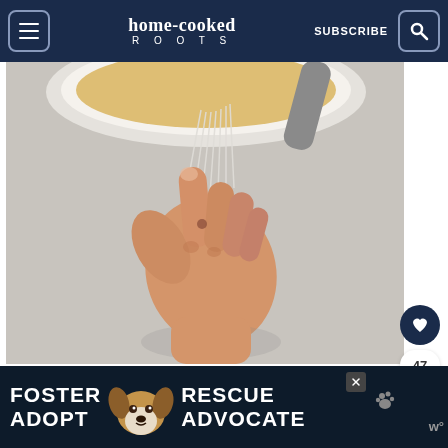home-cooked ROOTS | SUBSCRIBE
[Figure (photo): A hand holding a whisk, whisking ingredients in a bowl or plate. Close-up cooking photo with shallow depth of field.]
[Figure (photo): Advertisement banner: FOSTER ADOPT | dog photo | RESCUE ADVOCATE with close and share icons]